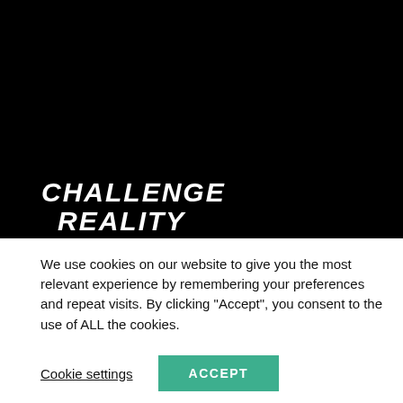[Figure (photo): Black panel background with handwritten-style white text reading CHALLENGE REALITY]
CHALLENGE REALITY
We use cookies on our website to give you the most relevant experience by remembering your preferences and repeat visits. By clicking “Accept”, you consent to the use of ALL the cookies.
Cookie settings
ACCEPT